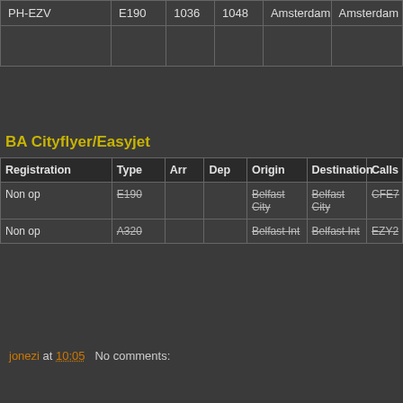| Registration | Type | Arr | Dep | Origin | Destination | Callsign |
| --- | --- | --- | --- | --- | --- | --- |
| PH-EZV | E190 | 1036 | 1048 | Amsterdam | Amsterdam |  |
|  |  |  |  |  |  |  |
BA Cityflyer/Easyjet
| Registration | Type | Arr | Dep | Origin | Destination | Callsign |
| --- | --- | --- | --- | --- | --- | --- |
| Non op | E190 |  |  | Belfast City | Belfast City | CFE7 |
| Non op | A320 |  |  | Belfast Int | Belfast Int | EZY2 |
jonezi at 10:05  No comments:
Share
Home
View web version